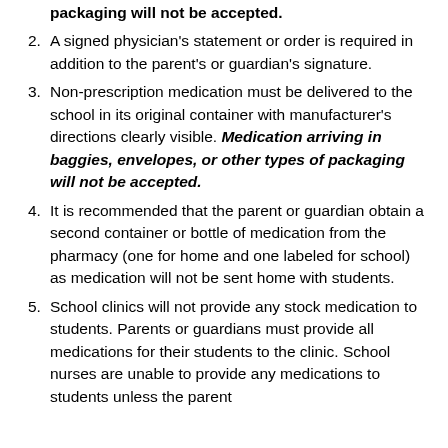packaging will not be accepted.
A signed physician's statement or order is required in addition to the parent's or guardian's signature.
Non-prescription medication must be delivered to the school in its original container with manufacturer's directions clearly visible. Medication arriving in baggies, envelopes, or other types of packaging will not be accepted.
It is recommended that the parent or guardian obtain a second container or bottle of medication from the pharmacy (one for home and one labeled for school) as medication will not be sent home with students.
School clinics will not provide any stock medication to students. Parents or guardians must provide all medications for their students to the clinic. School nurses are unable to provide any medications to students unless the parent